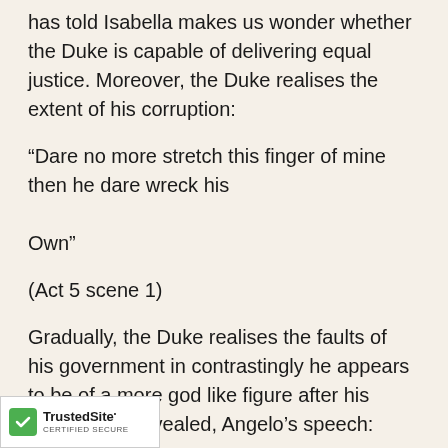has told Isabella makes us wonder whether the Duke is capable of delivering equal justice. Moreover, the Duke realises the extent of his corruption:
“Dare no more stretch this finger of mine then he dare wreck his

Own”
(Act 5 scene 1)
Gradually, the Duke realises the faults of his government in contrastingly he appears to be of a more god like figure after his facade was revealed, Angelo’s speech:
“When I perceive your grace like power divine,